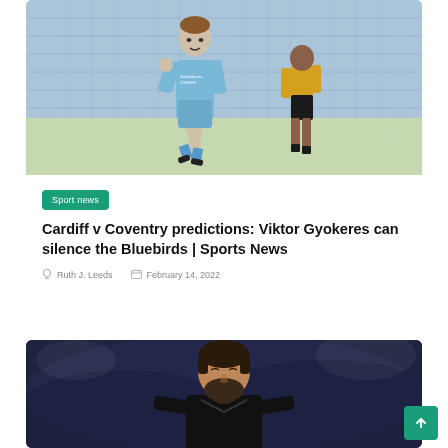[Figure (photo): Football players on a pitch, one in a light blue Coventry City kit striking the ball, another in yellow and black kit in the background, stadium seating visible behind]
Sport news
Cardiff v Coventry predictions: Viktor Gyokeres can silence the Bluebirds | Sports News
Ruth J. Leeds   February 14, 2022
[Figure (photo): A male footballer with a beard wearing a dark kit, looking upward, blurred stadium background in dark blue tones]